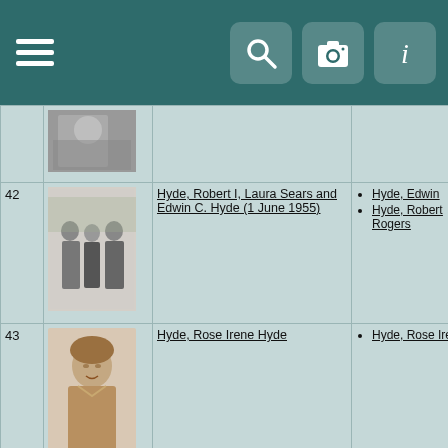Navigation bar with hamburger menu, search, camera, and info icons
| # | Photo | Title | People |
| --- | --- | --- | --- |
| 42 | [photo] | Hyde, Robert I, Laura Sears and Edwin C. Hyde (1 June 1955) | Hyde, Edwin
Hyde, Robert Rogers |
| 43 | [photo] | Hyde, Rose Irene Hyde | Hyde, Rose Irene |
| 44 | [photo] | Hyde, Sam P and Susan I Hyde c 1863 | Hyde, Samuel Peake |
| 45 | [photo] | Hyde, Samuel P Edwin and RobertRogers | Hyde, Edwin |